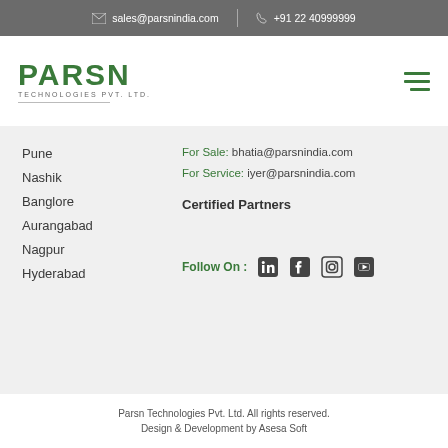sales@parsnindia.com  |  +91 22 40999999
[Figure (logo): PARSN Technologies Pvt. Ltd. green logo with company name and tagline]
Pune
Nashik
Banglore
Aurangabad
Nagpur
Hyderabad
For Sale: bhatia@parsnindia.com
For Service: iyer@parsnindia.com
Certified Partners
Follow On :
Parsn Technologies Pvt. Ltd. All rights reserved.
Design & Development by Asesa Soft